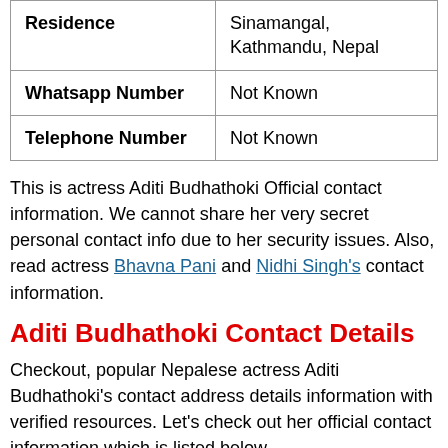|  |  |
| --- | --- |
| Residence | Sinamangal, Kathmandu, Nepal |
| Whatsapp Number | Not Known |
| Telephone Number | Not Known |
This is actress Aditi Budhathoki Official contact information. We cannot share her very secret personal contact info due to her security issues. Also, read actress Bhavna Pani and Nidhi Singh's contact information.
Aditi Budhathoki Contact Details
Checkout, popular Nepalese actress Aditi Budhathoki's contact address details information with verified resources. Let's check out her official contact information which is listed below.
House Address: Sinamangal, Kathmandu, Nepal